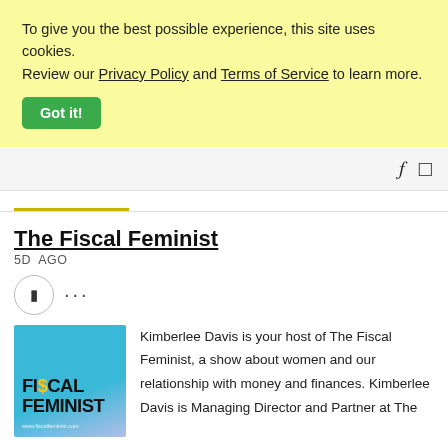To give you the best possible experience, this site uses cookies. Review our Privacy Policy and Terms of Service to learn more.
Got it!
The Fiscal Feminist
5D  AGO
[Figure (illustration): Podcast cover art for The Fiscal Feminist with blue-to-purple gradient background and bold text logo]
Kimberlee Davis is your host of The Fiscal Feminist, a show about women and our relationship with money and finances. Kimberlee Davis is Managing Director and Partner at The